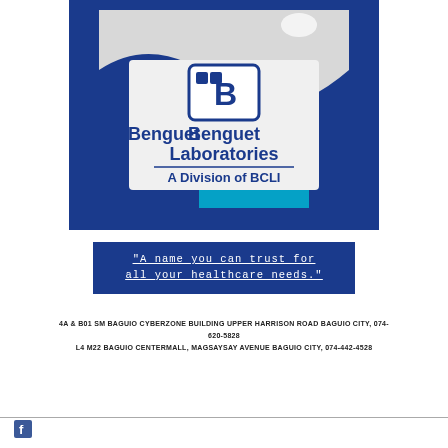[Figure (photo): Photo of Benguet Laboratories signage — a large sign reading 'Benguet Laboratories / A Division of BCLI' with a blue logo, mounted on a blue and white wall of a commercial establishment.]
"A name you can trust for all your healthcare needs."
4A & B01 SM BAGUIO CYBERZONE BUILDING UPPER HARRISON ROAD BAGUIO CITY, 074-620-5828
L4 M22 BAGUIO CENTERMALL MAGSAYSAY AVENUE BAGUIO CITY, 074-442-4528